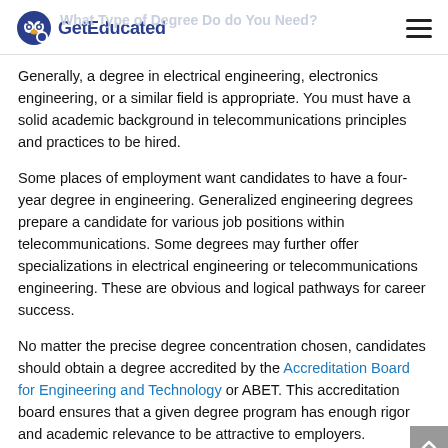GetEducated — What Type of Degree Do do You Need?
Generally, a degree in electrical engineering, electronics engineering, or a similar field is appropriate. You must have a solid academic background in telecommunications principles and practices to be hired.
Some places of employment want candidates to have a four-year degree in engineering. Generalized engineering degrees prepare a candidate for various job positions within telecommunications. Some degrees may further offer specializations in electrical engineering or telecommunications engineering. These are obvious and logical pathways for career success.
No matter the precise degree concentration chosen, candidates should obtain a degree accredited by the Accreditation Board for Engineering and Technology or ABET. This accreditation board ensures that a given degree program has enough rigor and academic relevance to be attractive to employers.